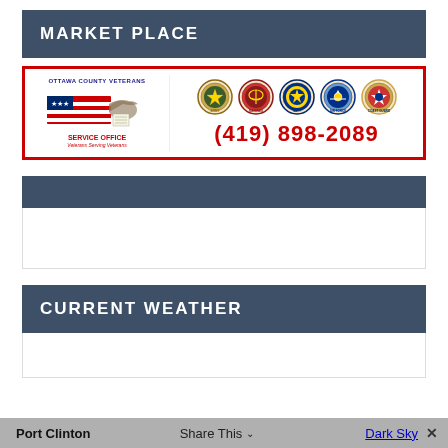MARKET PLACE
[Figure (logo): Ottawa County Veterans Service Office advertisement with flag graphic, five military branch seals (Army, Marines, Navy, Air Force, Coast Guard), and phone number (419) 898-2089]
CURRENT WEATHER
Port Clinton
Share This
Dark Sky